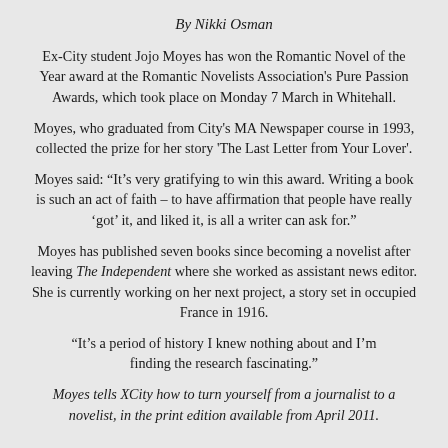By Nikki Osman
Ex-City student Jojo Moyes has won the Romantic Novel of the Year award at the Romantic Novelists Association's Pure Passion Awards, which took place on Monday 7 March in Whitehall.
Moyes, who graduated from City's MA Newspaper course in 1993, collected the prize for her story 'The Last Letter from Your Lover'.
Moyes said: “It’s very gratifying to win this award. Writing a book is such an act of faith – to have affirmation that people have really ‘got’ it, and liked it, is all a writer can ask for.”
Moyes has published seven books since becoming a novelist after leaving The Independent where she worked as assistant news editor. She is currently working on her next project, a story set in occupied France in 1916.
“It’s a period of history I knew nothing about and I’m finding the research fascinating.”
Moyes tells XCity how to turn yourself from a journalist to a novelist, in the print edition available from April 2011.